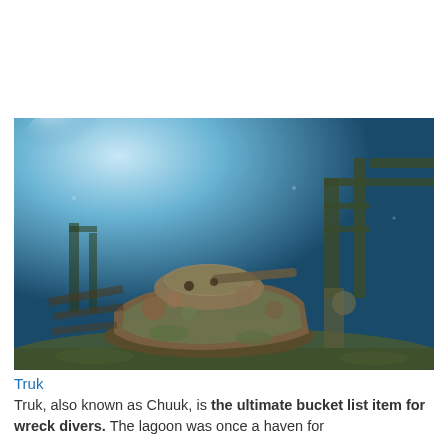[Figure (photo): Underwater photograph of a coral-encrusted military tank resting on the seafloor of Truk Lagoon, with the blue hazy water and a sunken ship structure visible in the background.]
Truk
Truk, also known as Chuuk, is the ultimate bucket list item for wreck divers. The lagoon was once a haven for